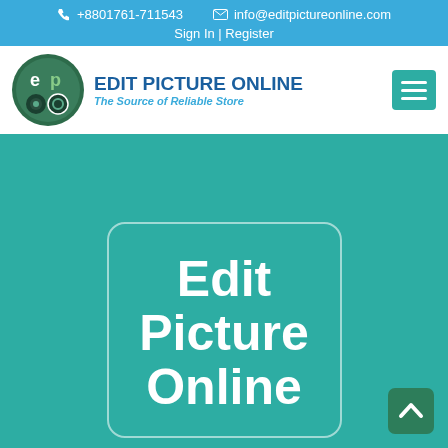+8801761-711543  info@editpictureonline.com
Sign In | Register
[Figure (logo): Edit Picture Online logo — circular green logo badge with 'ep' letters, camera and lens icons]
EDIT PICTURE ONLINE
The Source of Reliable Store
[Figure (infographic): Hamburger menu icon — three horizontal white lines on teal square background]
Edit Picture Online
[Figure (infographic): Scroll-to-top arrow button — white chevron/arrow on dark green rounded square]